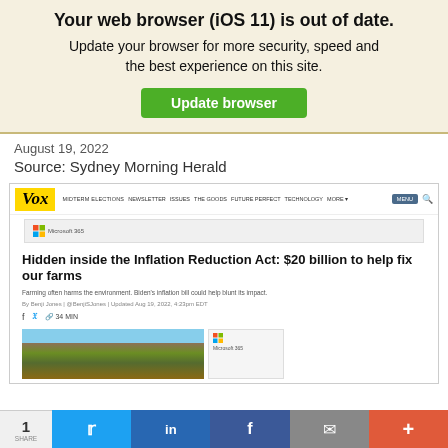Your web browser (iOS 11) is out of date. Update your browser for more security, speed and the best experience on this site. Update browser
August 19, 2022
Source: Sydney Morning Herald
[Figure (screenshot): Screenshot of a Vox article titled 'Hidden inside the Inflation Reduction Act: $20 billion to help fix our farms' with the subheading 'Farming often harms the environment. Biden's inflation bill could help blunt its impact.' The screenshot shows the Vox website with navigation bar, a Microsoft 365 ad, article headline, byline, social sharing icons, and a partial aerial photo of farmland.]
1  (Twitter) (LinkedIn) (Facebook) (Email) (+)